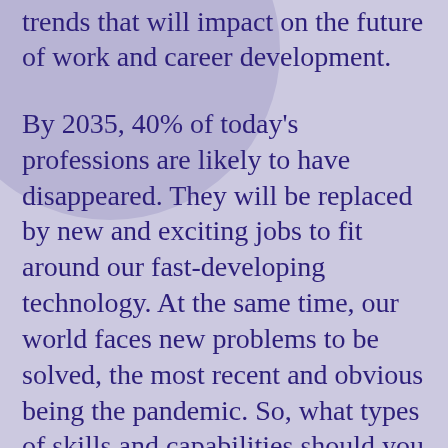trends that will impact on the future of work and career development.
By 2035, 40% of today's professions are likely to have disappeared. They will be replaced by new and exciting jobs to fit around our fast-developing technology. At the same time, our world faces new problems to be solved, the most recent and obvious being the pandemic. So, what types of skills and capabilities should you develop to succeed in this changing workplace? In this post, I